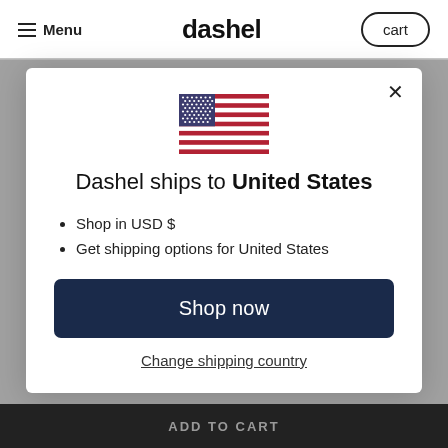Menu  dashel  cart
[Figure (screenshot): US flag emoji / SVG illustration in modal]
Dashel ships to United States
Shop in USD $
Get shipping options for United States
Shop now
Change shipping country
ADD TO CART